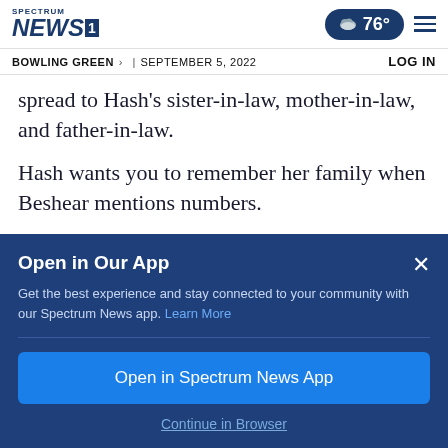Spectrum NEWS 1 | BOWLING GREEN > | SEPTEMBER 5, 2022 | LOG IN | 76°
spread to Hash's sister-in-law, mother-in-law, and father-in-law.
Hash wants you to remember her family when Beshear mentions numbers.
“You’re not hearing real-life stories, you’re just
Open in Our App
Get the best experience and stay connected to your community with our Spectrum News app. Learn More
Open in Spectrum News App
Continue in Browser